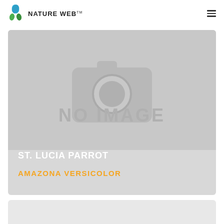NATURE WEB™
[Figure (photo): No image placeholder card showing a camera icon silhouette in grey with 'NO IMAGE' text, title 'ST. LUCIA PARROT' in white and subtitle 'AMAZONA VERSICOLOR' in orange/yellow]
ST. LUCIA PARROT
AMAZONA VERSICOLOR
[Figure (photo): Partial view of a second card at the bottom of the page, light grey background]